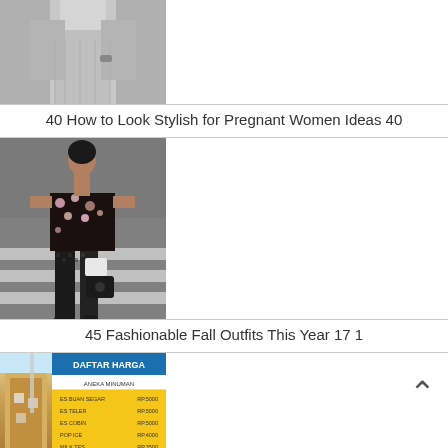[Figure (photo): Photo of a woman in grey clothing, partially cropped at top]
40 How to Look Stylish for Pregnant Women Ideas 40
[Figure (photo): Photo of a woman in floral top and patterned pants walking on a street crosswalk]
45 Fashionable Fall Outfits This Year 17 1
[Figure (photo): Photo of a menu board (DAFTAR HARGA) with drink items listed in Indonesian with prices, alongside an iced drink photo]
[Figure (other): Back-to-top arrow chevron button]